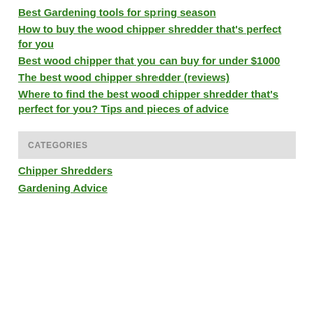Best Gardening tools for spring season
How to buy the wood chipper shredder that's perfect for you
Best wood chipper that you can buy for under $1000
The best wood chipper shredder (reviews)
Where to find the best wood chipper shredder that's perfect for you? Tips and pieces of advice
CATEGORIES
Chipper Shredders
Gardening Advice